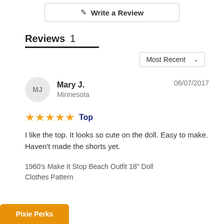✎  Write a Review
Reviews 1
Most Recent (dropdown)
Mary J.  Minnesota  06/07/2017
★★★★★  Top
I like the top. It looks so cute on the doll. Easy to make. Haven't made the shorts yet.
1960's Make It Stop Beach Outfit 18" Doll Clothes Pattern
Pixie Perks